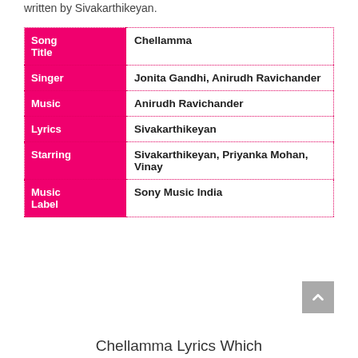written by Sivakarthikeyan.
|  |  |
| --- | --- |
| Song Title | Chellamma |
| Singer | Jonita Gandhi, Anirudh Ravichander |
| Music | Anirudh Ravichander |
| Lyrics | Sivakarthikeyan |
| Starring | Sivakarthikeyan, Priyanka Mohan, Vinay |
| Music Label | Sony Music India |
Chellamma Lyrics Which